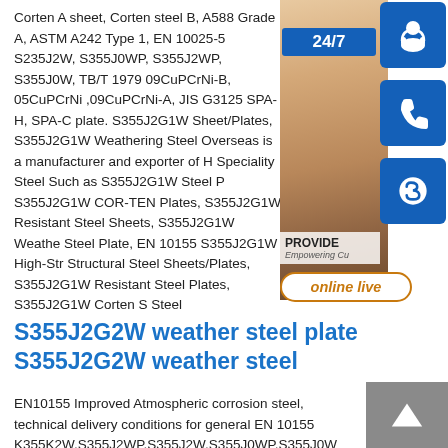Corten A sheet, Corten steel B, A588 Grade A, ASTM A242 Type 1, EN 10025-5 S235J2W, S355J0WP, S355J2WP, S355J0W, TB/T 1979 09CuPCrNi-B, 05CuPCrNi ,09CuPCrNi-A, JIS G3125 SPA-H, SPA-C plate. S355J2G1W Sheet/Plates, S355J2G1W Weathering Steel Overseas is a manufacturer and exporter of Speciality Steel Such as S355J2G1W Steel S355J2G1W COR-TEN Plates, S355J2G1W Resistant Steel Sheets, S355J2G1W Weathering Steel Plate, EN 10155 S355J2G1W High-Strength Structural Steel Sheets/Plates, S355J2G1W Resistant Steel Plates, S355J2G1W Corten Steel
[Figure (photo): Customer service representative with headset, with blue icon buttons for 24/7, phone, and Skype contact, and an online live chat button]
S355J2G2W weather steel plate S355J2G2W weather steel
EN10155 Improved Atmospheric corrosion steel, technical delivery conditions for general EN 10155 K355K2W,S355J2WP,S355J2W,S355J0WP,S355J0W Weather Henan Gang Iron and Steel Co. Ltd (BBNSTEEL) is